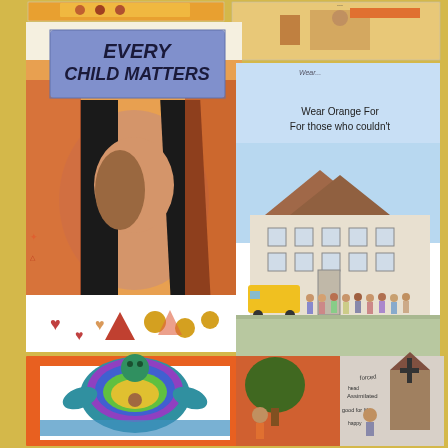[Figure (illustration): Collection of six children's drawings on a yellow background related to Indigenous reconciliation and Every Child Matters theme. Top-left partial: colorful banner artwork. Top-right partial: scene with figures. Middle-left: 'Every Child Matters' poster with a child's face and long black hair, orange background, hearts and symbols below. Middle-right: School building scene with text 'Wear Orange For those who couldn't', children lined up outside a school with a yellow bus. Bottom-left: Colorful turtle drawing on orange mat with rainbow colors and a figure. Bottom-right: Split scene showing nature/trees on left and a church/residential school on right with words 'forced', 'Assimilated', 'head', 'happy', 'good for life'.]